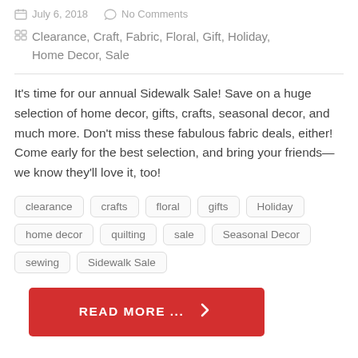July 6, 2018   No Comments
Clearance, Craft, Fabric, Floral, Gift, Holiday, Home Decor, Sale
It’s time for our annual Sidewalk Sale! Save on a huge selection of home decor, gifts, crafts, seasonal decor, and much more. Don’t miss these fabulous fabric deals, either! Come early for the best selection, and bring your friends—we know they’ll love it, too!
clearance
crafts
floral
gifts
Holiday
home decor
quilting
sale
Seasonal Decor
sewing
Sidewalk Sale
READ MORE ...